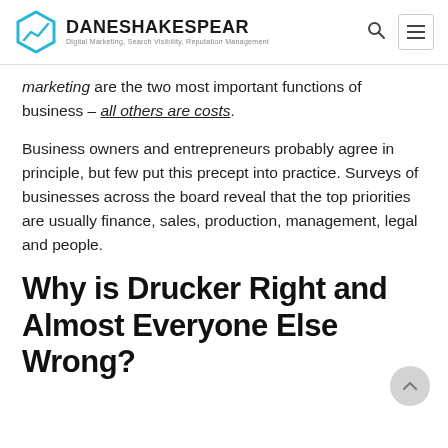DANESHAKESPEAR — Digital Marketing, Search Visibility, Reputation Management
marketing are the two most important functions of business – all others are costs.
Business owners and entrepreneurs probably agree in principle, but few put this precept into practice. Surveys of businesses across the board reveal that the top priorities are usually finance, sales, production, management, legal and people.
Why is Drucker Right and Almost Everyone Else Wrong?